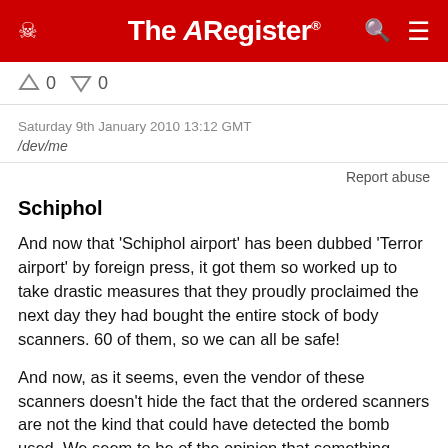The Register
↑0  ↓0
Saturday 9th January 2010 13:12 GMT
/dev/me
Report abuse
Schiphol
And now that 'Schiphol airport' has been dubbed 'Terror airport' by foreign press, it got them so worked up to take drastic measures that they proudly proclaimed the next day they had bought the entire stock of body scanners. 60 of them, so we can all be safe!
And now, as it seems, even the vendor of these scanners doesn't hide the fact that the ordered scanners are not the kind that could have detected the bomb used. We seem to be of the opinion that something must be done, even if it is ineffective.